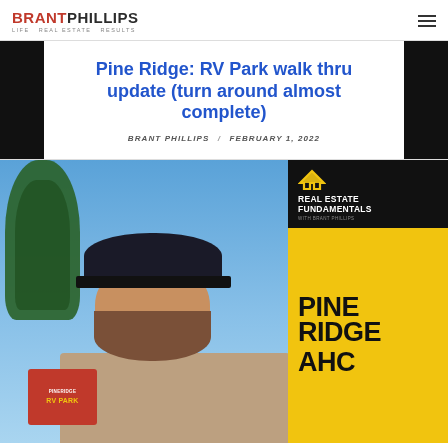BRANT PHILLIPS — Life Real Estate Results (logo + hamburger menu)
Pine Ridge: RV Park walk thru update (turn around almost complete)
BRANT PHILLIPS / FEBRUARY 1, 2022
[Figure (photo): Video thumbnail showing a bearded man in a dark cap standing outdoors near pine trees; a Pine Ridge RV Park sign is visible lower left; right side has black background with 'Real Estate Fundamentals' logo and yellow panel reading 'PINE RIDGE AHC' in bold black text]